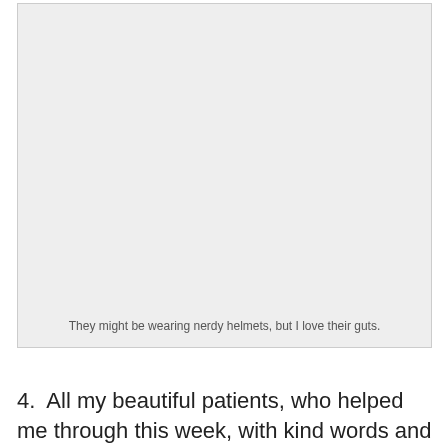[Figure (photo): A large light gray image placeholder box with a caption at the bottom reading: They might be wearing nerdy helmets, but I love their guts.]
They might be wearing nerdy helmets, but I love their guts.
4.  All my beautiful patients, who helped me through this week, with kind words and even kinder hearts.  I appreciate